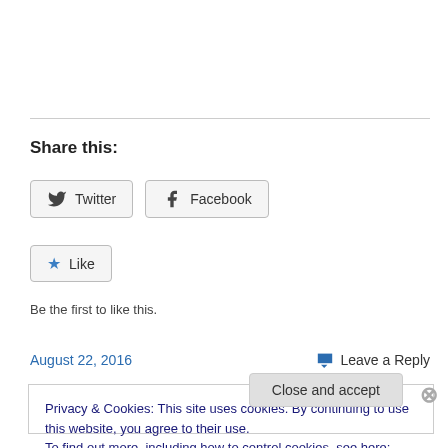Share this:
Twitter  Facebook
Like  Be the first to like this.
August 22, 2016
Leave a Reply
Privacy & Cookies: This site uses cookies. By continuing to use this website, you agree to their use.
To find out more, including how to control cookies, see here: Cookie Policy
Close and accept